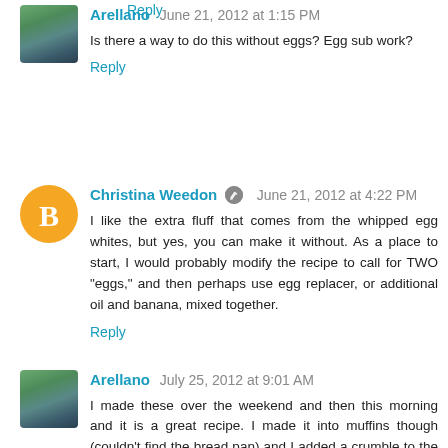Reply
Arellano  June 21, 2012 at 1:15 PM
Is there a way to do this without eggs? Egg sub work?
Reply
Christina Weedon  June 21, 2012 at 4:22 PM
I like the extra fluff that comes from the whipped egg whites, but yes, you can make it without. As a place to start, I would probably modify the recipe to call for TWO "eggs," and then perhaps use egg replacer, or additional oil and banana, mixed together.
Reply
Arellano  July 25, 2012 at 9:01 AM
I made these over the weekend and then this morning and it is a great recipe. I made it into muffins though (couldn't find the bread pan) and I added a crumble to the top